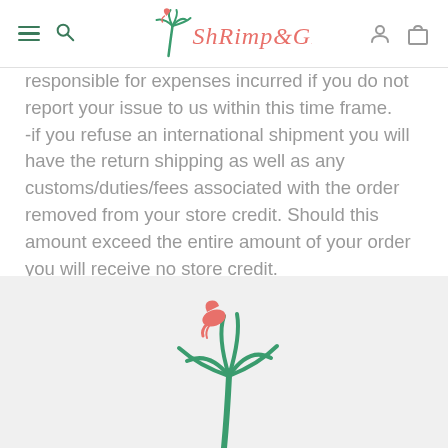Shrimp & Grits Kids
responsible for expenses incurred if you do not report your issue to us within this time frame.
-if you refuse an international shipment you will have the return shipping as well as any customs/duties/fees associated with the order removed from your store credit. Should this amount exceed the entire amount of your order you will receive no store credit.
-International Shipments take roughly a week however please allow up to three weeks due to the potential intervention of forces beyond our control.
[Figure (logo): Shrimp & Grits Kids logo - palm tree with shrimp, partial view at bottom of page]